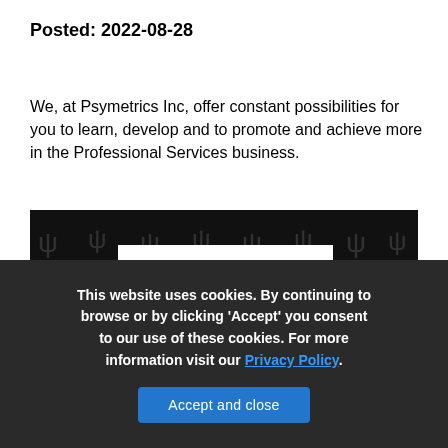Posted: 2022-08-28
We, at Psymetrics Inc, offer constant possibilities for you to learn, develop and to promote and achieve more in the Professional Services business.
[Figure (photo): Dark background with repeating Psymetrics logo icons, overlaid with a white card showing the text 'WE ARE']
This website uses cookies. By continuing to browse or by clicking 'Accept' you consent to our use of these cookies. For more information visit our Privacy Policy.
Accept and close